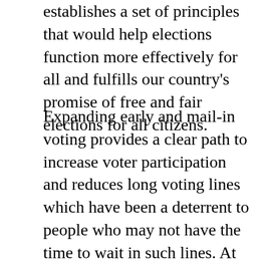establishes a set of principles that would help elections function more effectively for all and fulfills our country's promise of free and fair elections for all citizens.
Expanding early and mail-in voting provides a clear path to increase voter participation and reduces long voting lines which have been a deterrent to people who may not have the time to wait in such lines. At times, cities, including larger cities such as Louisville, only have one polling place in the entire city, inevitably leading to excessively long lines on election day. Setting a baseline of two weeks of early voting will allow for citizens to vote on a day that does not interfere with work or family obligations. Likewise, expanding mail-in voting will also reduce lines at polling places and increase the percentage of the population who cast ballots. Statewide vote by mail already has been implemented in states such as Oregon and Utah; it has proven to be extremely secure and effective. In fact, the fraud rate in